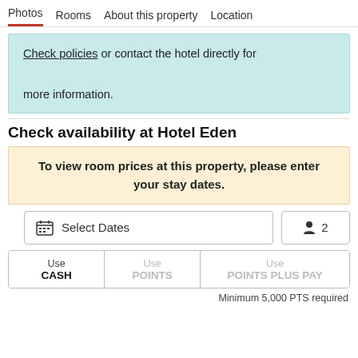Photos | Rooms | About this property | Location
Check policies or contact the hotel directly for more information.
Check availability at Hotel Eden
To view room prices at this property, please enter your stay dates.
Select Dates | 2
Use CASH | Use POINTS | Use POINTS PLUS PAY
Minimum 5,000 PTS required